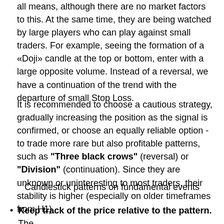all means, although there are no market factors to this. At the same time, they are being watched by large players who can play against small traders. For example, seeing the formation of a «Doji» candle at the top or bottom, enter with a large opposite volume. Instead of a reversal, we have a continuation of the trend with the departure of small Stop Loss.
It is recommended to choose a cautious strategy, gradually increasing the position as the signal is confirmed, or choose an equally reliable option - to trade more rare but also profitable patterns, such as "Three black crows" (reversal) or "Division" (continuation). Since they are unknown or uninteresting to most traders, their stability is higher (especially on older timeframes from H1).
Candlestick patterns on fundamental events
Keep track of the price relative to the pattern. The